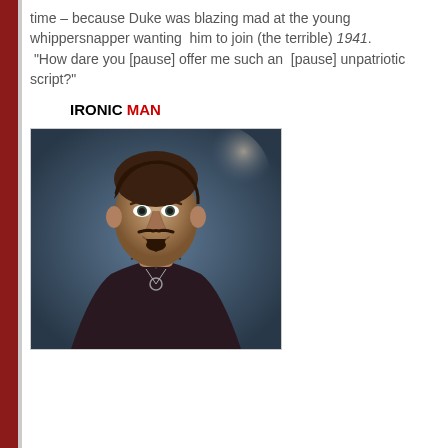time – because Duke was blazing mad at the young whippersnapper wanting him to join (the terrible) 1941. “How dare you [pause] offer me such an [pause] unpatriotic script?”
IRONIC MAN
[Figure (photo): A man with dark brown hair, beard and goatee wearing a dark maroon zip-up jacket, looking slightly upward with a serious expression. Background is blurred with blue-grey tones and a bright highlight in the upper right.]